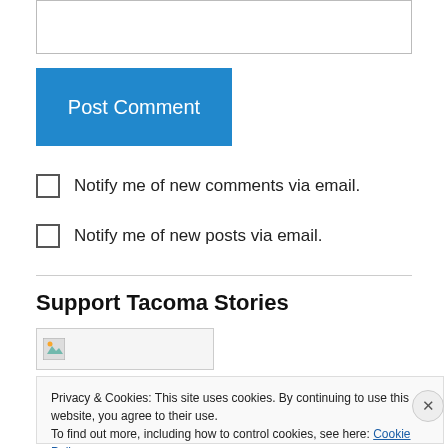[Figure (screenshot): Empty text input box at the top of the page]
Post Comment
Notify me of new comments via email.
Notify me of new posts via email.
Support Tacoma Stories
[Figure (photo): Small broken/loading image placeholder]
Privacy & Cookies: This site uses cookies. By continuing to use this website, you agree to their use. To find out more, including how to control cookies, see here: Cookie Policy
Close and accept